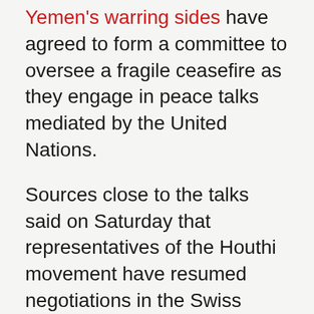Yemen's warring sides have agreed to form a committee to oversee a fragile ceasefire as they engage in peace talks mediated by the United Nations.
Sources close to the talks said on Saturday that representatives of the Houthi movement have resumed negotiations in the Swiss village of Magglingen under a proposed UN plan for the formation of the committee to monitor the truce.
Houthi officials had threatened to pull out of the talks after reports emerged Friday that the other side, forces loyal to Yemen's embattled president, Abd Rabbuh Mansour Hadi, had captured a major town in northwestern Yemen apparently to solidify the